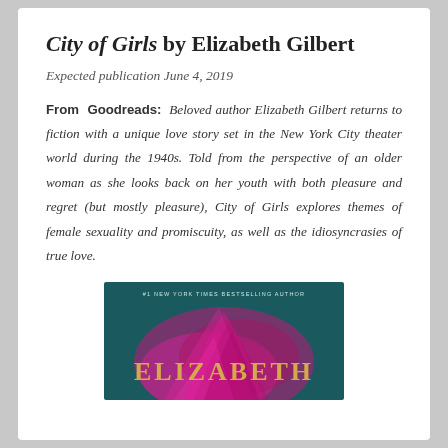City of Girls by Elizabeth Gilbert
Expected publication June 4, 2019
From Goodreads: Beloved author Elizabeth Gilbert returns to fiction with a unique love story set in the New York City theater world during the 1940s. Told from the perspective of an older woman as she looks back on her youth with both pleasure and regret (but mostly pleasure), City of Girls explores themes of female sexuality and promiscuity, as well as the idiosyncrasies of true love.
[Figure (photo): Book cover of City of Girls by Elizabeth Gilbert showing the title in gold letters and the author name ELIZABETH on a dark teal background with pink/magenta feather-like design. Text at top reads '#1 NEW YORK TIMES BESTSELLING AUTHOR'.]